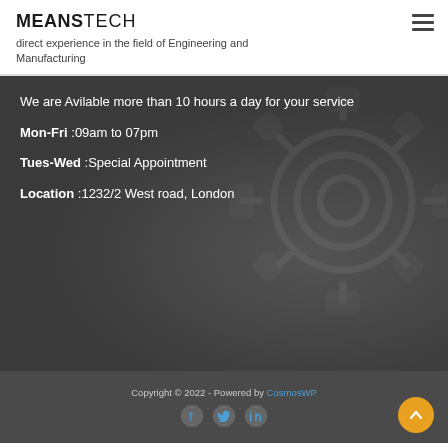MEANSTECH
direct experience in the field of Engineering and Manufacturing
We are Avilable more than 10 hours a day for your service
Mon-Fri :09am to 07pm
Tues-Wed :Special Appointment
Location :1232/2 West road, London
Copyright © 2022 - Powered by CosmosWP